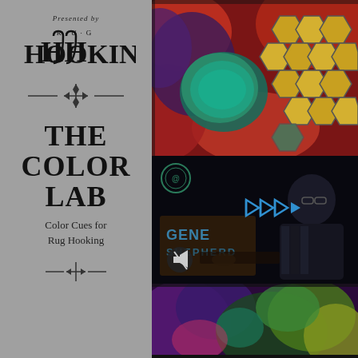Presented by
[Figure (logo): Rug Hooking magazine logo with stylized HOOKING text where the two O letters are represented as hooks]
[Figure (illustration): Decorative divider ornament with crossed lines and arrow/leaf motif]
THE COLOR LAB
Color Cues for Rug Hooking
[Figure (photo): Close-up photograph of a hooked rug with colorful turtle design featuring teal, yellow, red and purple colors]
[Figure (screenshot): Video player screenshot showing Gene Shepherd with blue skip/play controls and mute button overlay, dark background]
[Figure (photo): Bottom portion of hooked rug with multicolored abstract design in purple, teal, yellow and red tones]